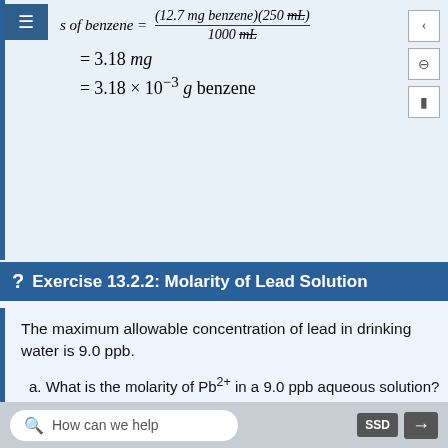Exercise 13.2.2: Molarity of Lead Solution
The maximum allowable concentration of lead in drinking water is 9.0 ppb.
a. What is the molarity of Pb²⁺ in a 9.0 ppb aqueous solution?
b. Use your calculated concentration to determine how many grams of Pb²⁺ are in an 8 oz glass of water.
How can we help